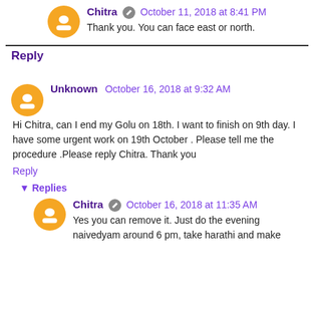Chitra — October 11, 2018 at 8:41 PM
Thank you. You can face east or north.
Reply
Unknown — October 16, 2018 at 9:32 AM
Hi Chitra, can I end my Golu on 18th. I want to finish on 9th day. I have some urgent work on 19th October . Please tell me the procedure .Please reply Chitra. Thank you
Reply
Replies
Chitra — October 16, 2018 at 11:35 AM
Yes you can remove it. Just do the evening naivedyam around 6 pm, take harathi and make